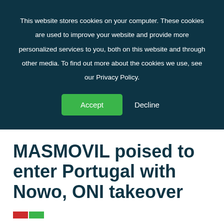This website stores cookies on your computer. These cookies are used to improve your website and provide more personalized services to you, both on this website and through other media. To find out more about the cookies we use, see our Privacy Policy.
Accept | Decline
MASMOVIL poised to enter Portugal with Nowo, ONI takeover
[Figure (illustration): Small rectangular flag-like icon with red and green sections at the bottom left of the content area]